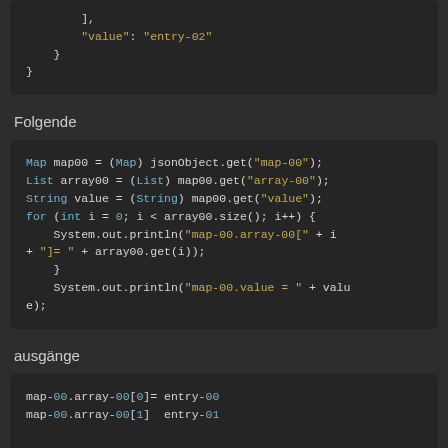code block showing ],  "value": "entry-02" } }
Folgende
Map map00 = (Map) jsonObject.get("map-00"); List array00 = (List) map00.get("array-00"); String value = (String) map00.get("value"); for (int i = 0; i < array00.size(); i++) { System.out.println("map-00.array-00[" + i + "]= " + array00.get(i)); } System.out.println("map-00.value = " + value);
ausgänge
map-00.array-00[0]= entry-00